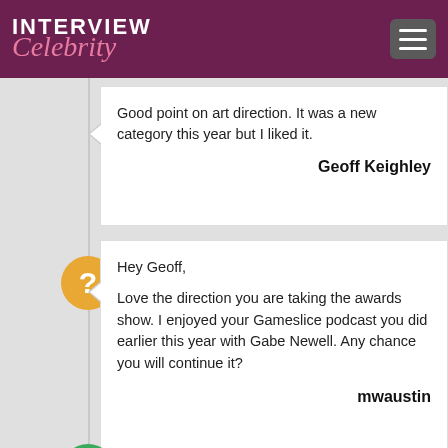INTERVIEW Celebrity
Good point on art direction. It was a new category this year but I liked it.

Geoff Keighley
Hey Geoff,

Love the direction you are taking the awards show. I enjoyed your Gameslice podcast you did earlier this year with Gabe Newell. Any chance you will continue it?

mwaustin
Yeah I want to get back to the podcast. This has been a long year for me but hopefully it's